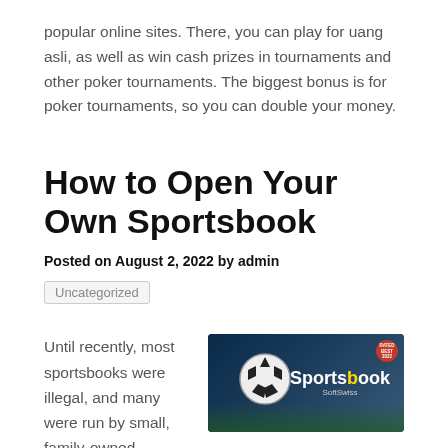popular online sites. There, you can play for uang asli, as well as win cash prizes in tournaments and other poker tournaments. The biggest bonus is for poker tournaments, so you can double your money.
How to Open Your Own Sportsbook
Posted on August 2, 2022 by admin
Uncategorized
[Figure (photo): Sportsbook advertisement image showing a soccer ball with a smartphone and the text 'Sportsbook SoftSwiss' on a dark stadium background]
Until recently, most sportsbooks were illegal, and many were run by small, family-owned businesses or organized crime. In some states, they were even run by friends and family. Today, sportsbooks are legal in over twenty states, and you can even